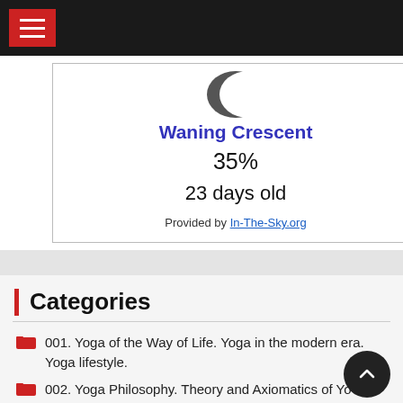[Figure (screenshot): Black top navigation bar with red hamburger menu button]
Waning Crescent
35%
23 days old
Provided by In-The-Sky.org
Categories
001. Yoga of the Way of Life. Yoga in the modern era. Yoga lifestyle.
002. Yoga Philosophy. Theory and Axiomatics of Yo
003. Vedas and Yoga. Vedas as the main source of yoga.